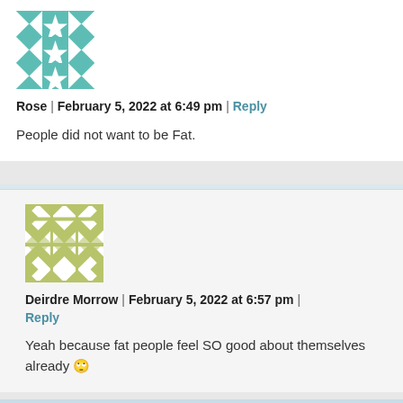[Figure (illustration): Teal and white geometric quilt-pattern avatar icon for user Rose]
Rose | February 5, 2022 at 6:49 pm | Reply
People did not want to be Fat.
[Figure (illustration): Olive/yellow-green and white geometric quilt-pattern avatar icon for user Deirdre Morrow]
Deirdre Morrow | February 5, 2022 at 6:57 pm | Reply
Yeah because fat people feel SO good about themselves already 🙄